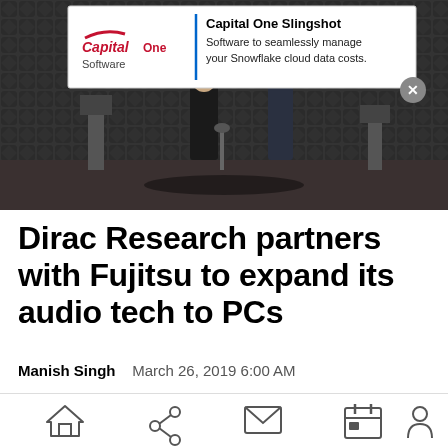[Figure (photo): Anechoic chamber with two people and speaker stands, with Capital One Slingshot advertisement banner overlay]
Dirac Research partners with Fujitsu to expand its audio tech to PCs
Manish Singh   March 26, 2019 6:00 AM
[Figure (other): Mobile app bottom navigation bar with home, share, mail, calendar, and profile icons]